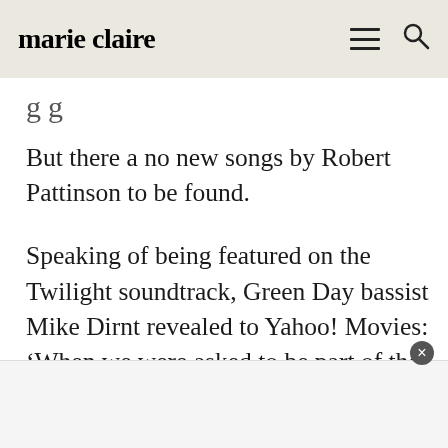marie claire
But there a no new songs by Robert Pattinson to be found.
Speaking of being featured on the Twilight soundtrack, Green Day bassist Mike Dirnt revealed to Yahoo! Movies: ‘When we were asked to be part of the Twilight: Breaking Dawn – Part 2 soundtrack, we readily agreed